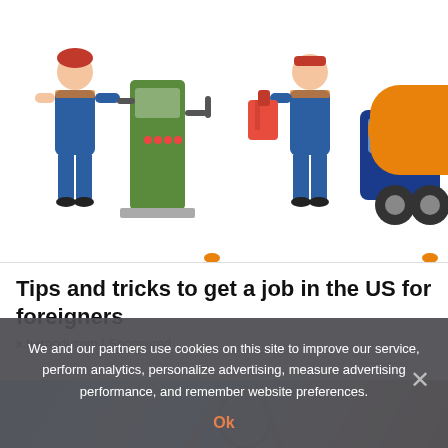[Figure (illustration): Illustration of fuel station worker, person carrying fuel can, and a petroleum tanker truck]
Tips and tricks to get a job in the US for foreigners
x.hernodi.com | Sponsored
[Figure (photo): Close-up photo of dental tools including a mirror, blue/light background]
We and our partners use cookies on this site to improve our service, perform analytics, personalize advertising, measure advertising performance, and remember website preferences.
Ok